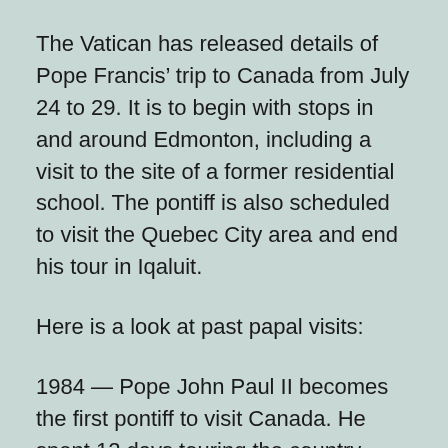The Vatican has released details of Pope Francis' trip to Canada from July 24 to 29. It is to begin with stops in and around Edmonton, including a visit to the site of a former residential school. The pontiff is also scheduled to visit the Quebec City area and end his tour in Iqaluit.
Here is a look at past papal visits:
1984 — Pope John Paul II becomes the first pontiff to visit Canada. He spent 12 days touring the country, touching down in Quebec City and travelling through most of the